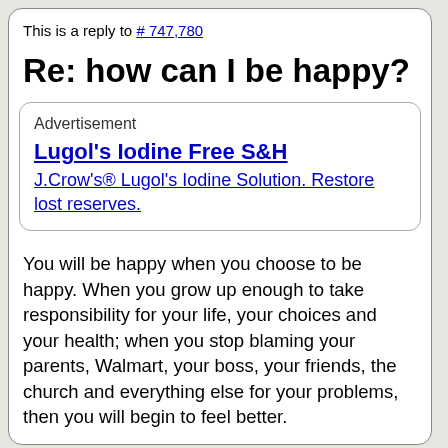This is a reply to # 747,780
Re: how can I be happy?
Advertisement
Lugol's Iodine Free S&H
J.Crow's® Lugol's Iodine Solution. Restore lost reserves.
You will be happy when you choose to be happy. When you grow up enough to take responsibility for your life, your choices and your health; when you stop blaming your parents, Walmart, your boss, your friends, the church and everything else for your problems, then you will begin to feel better.